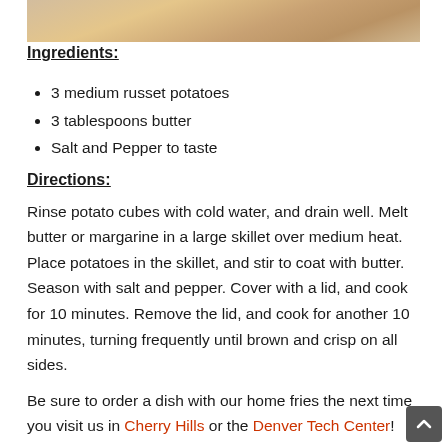[Figure (photo): Food photo strip showing home fries / potato dish on a wooden surface]
Ingredients:
3 medium russet potatoes
3 tablespoons butter
Salt and Pepper to taste
Directions:
Rinse potato cubes with cold water, and drain well. Melt butter or margarine in a large skillet over medium heat. Place potatoes in the skillet, and stir to coat with butter. Season with salt and pepper. Cover with a lid, and cook for 10 minutes. Remove the lid, and cook for another 10 minutes, turning frequently until brown and crisp on all sides.
Be sure to order a dish with our home fries the next time you visit us in Cherry Hills or the Denver Tech Center!